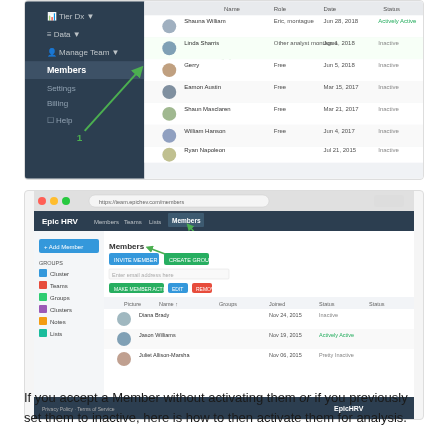[Figure (screenshot): Screenshot of a web application showing a left navigation menu with items including Tier Dx, Data, Manage Team, Members (highlighted with arrow labeled 1), Settings, Billing, Help, and a main content area showing a table of members with columns for name, role, date, and status. Arrow labeled 2 points to a member row.]
[Figure (screenshot): Screenshot of EpicHRV web application Members page showing the team members list with Active and Inactive labels annotated with green arrows, highlighting filter/status buttons at the top of the member list.]
If you accept a Member without activating them or if you previously set them to inactive, here is how to then activate them for analysis.